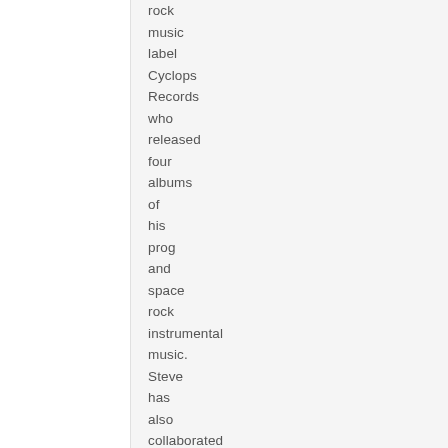rock music label Cyclops Records who released four albums of his prog and space rock instrumental music. Steve has also collaborated with a variety of